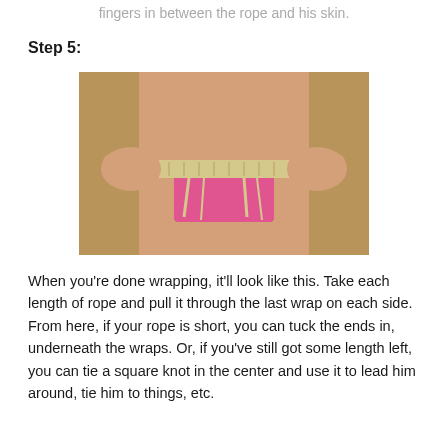fingers in between the rope and his skin.
Step 5:
[Figure (photo): A person holding rope wrapped around their waist/hips area with pink underwear visible, showing the completed wrapping with rope ends pulled through the last wrap on each side.]
When you're done wrapping, it'll look like this.  Take each length of rope and pull it through the last wrap on each side.  From here, if your rope is short, you can tuck the ends in, underneath the wraps.  Or, if you've still got some length left, you can tie a square knot in the center and use it to lead him around, tie him to things, etc.